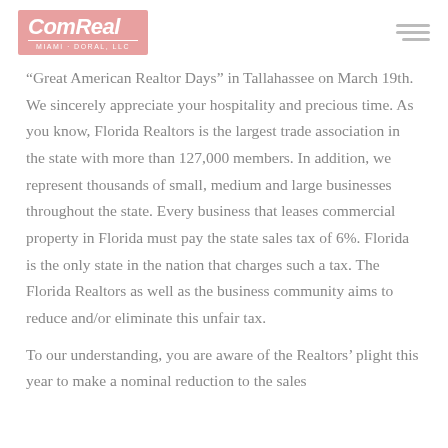ComReal Miami-Doral, LLC
“Great American Realtor Days” in Tallahassee on March 19th. We sincerely appreciate your hospitality and precious time. As you know, Florida Realtors is the largest trade association in the state with more than 127,000 members. In addition, we represent thousands of small, medium and large businesses throughout the state. Every business that leases commercial property in Florida must pay the state sales tax of 6%. Florida is the only state in the nation that charges such a tax. The Florida Realtors as well as the business community aims to reduce and/or eliminate this unfair tax.
To our understanding, you are aware of the Realtors’ plight this year to make a nominal reduction to the sales...